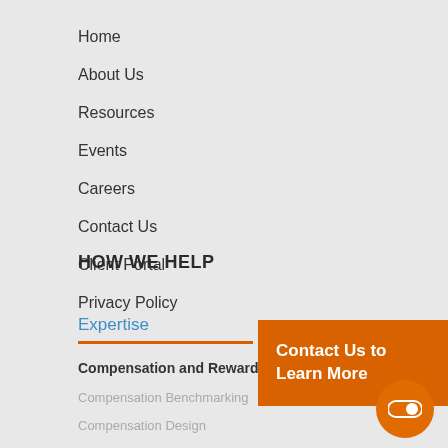Home
About Us
Resources
Events
Careers
Contact Us
Client Portal
Privacy Policy
HOW WE HELP
Expertise
Compensation and Rewards
Compensation Benchmarking
Compensation Design
Physician Compensation Design
Contact Us to Learn More
[Figure (other): Toggle/switch icon button in orange circle]